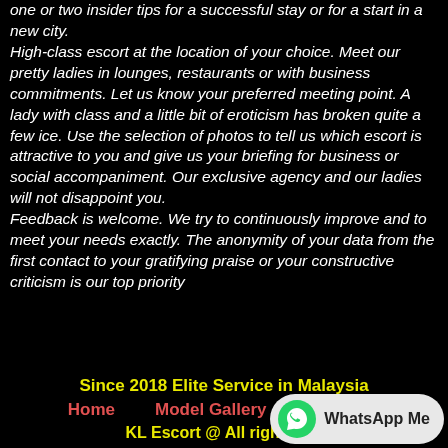one or two insider tips for a successful stay or for a start in a new city.
High-class escort at the location of your choice. Meet our pretty ladies in lounges, restaurants or with business commitments. Let us know your preferred meeting point. A lady with class and a little bit of eroticism has broken quite a few ice. Use the selection of photos to tell us which escort is attractive to you and give us your briefing for business or social accompaniment. Our exclusive agency and our ladies will not disappoint you.
Feedback is welcome. We try to continuously improve and to meet your needs exactly. The anonymity of your data from the first contact to your gratifying praise or your constructive criticism is our top priority
Since 2018 Elite Service in Malaysia
Home   Model Gallery   About us
KL Escort @ All rights res...
[Figure (other): WhatsApp Me button with WhatsApp logo icon]